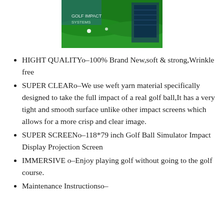[Figure (photo): A golf simulator screen showing a green golf course with projected image displayed on a large screen]
HIGHT QUALITYo-100% Brand New,soft & strong,Wrinkle free
SUPER CLEARo-We use weft yarn material specifically designed to take the full impact of a real golf ball,It has a very tight and smooth surface unlike other impact screens which allows for a more crisp and clear image.
SUPER SCREENo-118*79 inch Golf Ball Simulator Impact Display Projection Screen
IMMERSIVE o-Enjoy playing golf without going to the golf course.
Maintenance Instructionso-